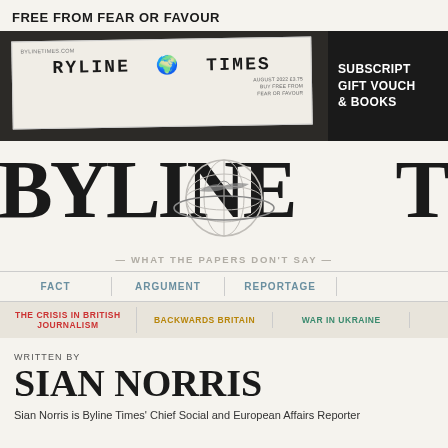FREE FROM FEAR OR FAVOUR
[Figure (illustration): Byline Times newspaper mockup on dark banner background with subscription offer box on right]
[Figure (logo): BYLINE TIMES masthead with globe and swallow logo, tagline WHAT THE PAPERS DON'T SAY]
FACT | ARGUMENT | REPORTAGE
THE CRISIS IN BRITISH JOURNALISM
BACKWARDS BRITAIN
WAR IN UKRAINE
WRITTEN BY
SIAN NORRIS
Sian Norris is Byline Times' Chief Social and European Affairs Reporter